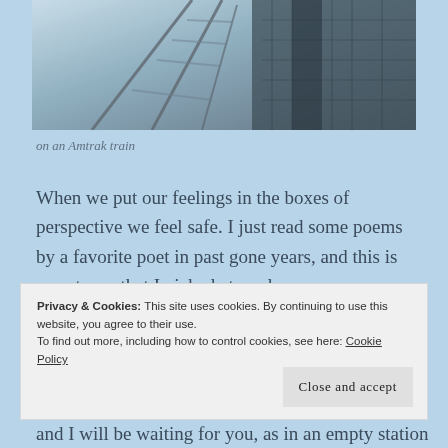[Figure (photo): Photograph taken from an Amtrak train window showing train tracks and blurred motion]
on an Amtrak train
When we put our feelings in the boxes of perspective we feel safe. I just read some poems by a favorite poet in past gone years, and this is one stanza that I picked at random,
Privacy & Cookies: This site uses cookies. By continuing to use this website, you agree to their use.
To find out more, including how to control cookies, see here: Cookie Policy
and I will be waiting for you, as in an empty station